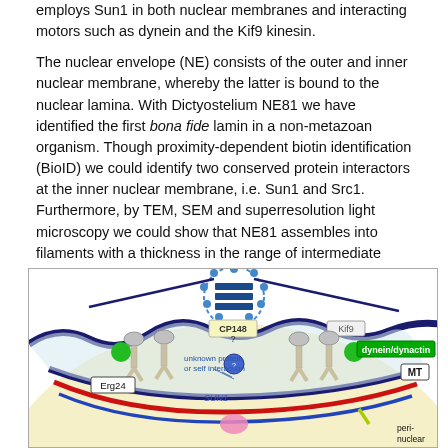employs Sun1 in both nuclear membranes and interacting motors such as dynein and the Kif9 kinesin.

The nuclear envelope (NE) consists of the outer and inner nuclear membrane, whereby the latter is bound to the nuclear lamina. With Dictyostelium NE81 we have identified the first bona fide lamin in a non-metazoan organism. Though proximity-dependent biotin identification (BioID) we could identify two conserved protein interactors at the inner nuclear membrane, i.e. Sun1 and Src1. Furthermore, by TEM, SEM and superresolution light microscopy we could show that NE81 assembles into filaments with a thickness in the range of intermediate filaments.
[Figure (illustration): Scientific illustration of the nuclear envelope showing labeled protein components including CP148, SUN1, Erg24, Kif9, dynein/dynactin, MT, and unknown protein or self interaction labels. The diagram shows a cross-section of the nuclear envelope with outer membrane (dark navy), inner structures (red and blue), and a centrosome-like structure (blue dotted circle with horizontal bars) at the top. Various protein complexes are depicted as mushroom-shaped structures spanning the membranes, with green circles representing motor proteins.]